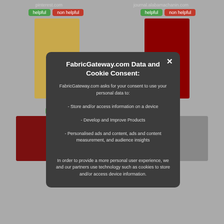[Figure (screenshot): Background of a webpage showing fabric/clothing images with URL labels (pinterest.com, journal.alabamachanin.com) and helpful/non helpful rating buttons. Images include tan/khaki fabric, red knitted fabric, red tank top, tan fabric, gray fabric.]
FabricGateway.com Data and Cookie Consent:
FabricGateway.com asks for your consent to use your personal data to:
- Store and/or access information on a device
- Develop and Improve Products
- Personalised ads and content, ads and content measurement, and audience insights

In order to provide a more personal user experience, we and our partners use technology such as cookies to store and/or access device information.